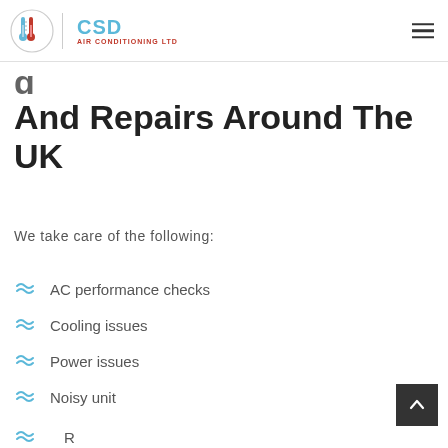CSD Air Conditioning Ltd
And Repairs Around The UK
We take care of the following:
AC performance checks
Cooling issues
Power issues
Noisy unit